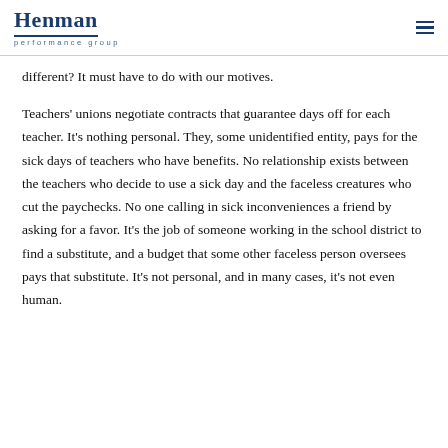Henman performance group
different? It must have to do with our motives.
Teachers' unions negotiate contracts that guarantee days off for each teacher. It's nothing personal. They, some unidentified entity, pays for the sick days of teachers who have benefits. No relationship exists between the teachers who decide to use a sick day and the faceless creatures who cut the paychecks. No one calling in sick inconveniences a friend by asking for a favor. It's the job of someone working in the school district to find a substitute, and a budget that some other faceless person oversees pays that substitute. It's not personal, and in many cases, it's not even human.